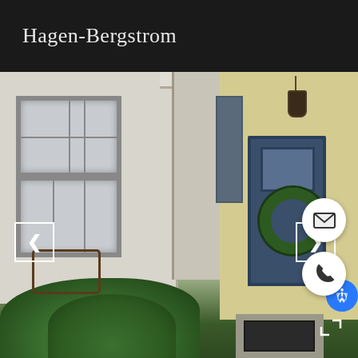Hagen-Bergstrom
[Figure (photo): Exterior photograph of the Hagen-Bergstrom property showing a white brick house with large multi-pane windows on the left, a central painted brick column with cornice, blue shutters, and a yellow brick facade on the right with a navy blue front door decorated with a green wreath, a hanging lantern above, and lush green bushes in the foreground. Navigation arrows on left and right, accessibility button, email and phone contact buttons, and expand icon overlaid on the image.]